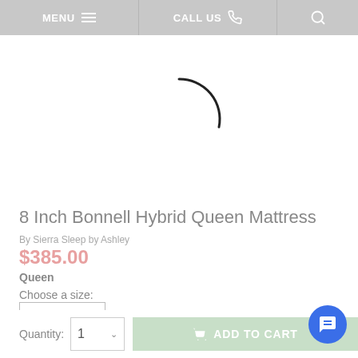MENU  CALL US  [search]
[Figure (illustration): Loading spinner arc (curved black line partial circle) centered on white background product image area]
8 Inch Bonnell Hybrid Queen Mattress
By Sierra Sleep by Ashley
$385.00
Queen
Choose a size:
Queen
Quantity:  1  ADD TO CART